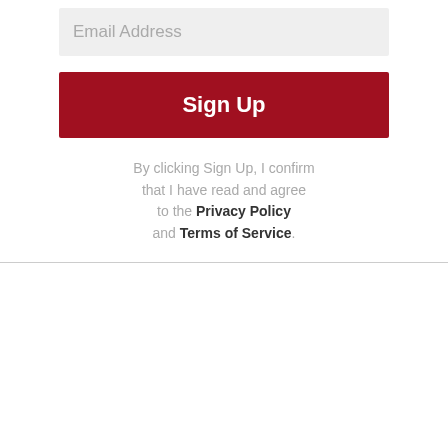Email Address
Sign Up
By clicking Sign Up, I confirm that I have read and agree to the Privacy Policy and Terms of Service.
Download the KTVU Mobile Apps
[Figure (logo): KTVU THE POWER2KNOW banner with Download The FOX2 News App, App Store and Google Play badges, and KTVU app icon]